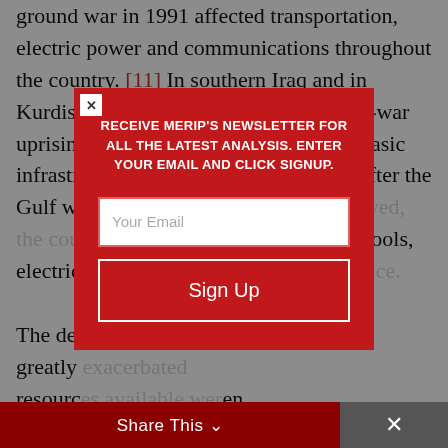ground war in 1991 affected transportation, electric power and communications throughout the country. [11] In southern Iraq and in Kurdish territories in northern Iraq, post-war uprisings caused further destruction of basic infrastructure, affecting public health. After the Gulf war, bridges and roads were destroyed, the country's social infrastructure — schools, electricity — did not receive...
The deterioration was greatly exacerbated by resources... even more damaging... important... to some extent...
[Figure (other): Newsletter signup modal overlay with red background. Contains heading 'RECEIVE MERIP'S NEWSLETTER FOR ALL THE LATEST ANALYSIS. ENTER YOUR EMAIL AND CLICK SIGNUP.' with an email input field and a Sign Up button. A close button (x) is in the top-left corner.]
[Figure (other): Share This bar at the bottom of the page with a dark red background and an X close button on the right.]